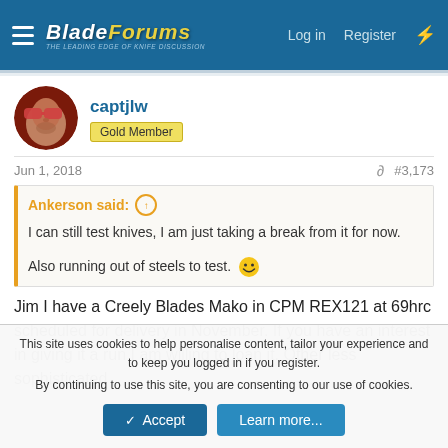BladeForums — Log in | Register
captjlw
Gold Member
Jun 1, 2018  #3,173
Ankerson said: ↑
I can still test knives, I am just taking a break from it for now.
Also running out of steels to test. 😁
Jim I have a Creely Blades Mako in CPM REX121 at 69hrc scheduled for delivery in November. If you have an interest in giving it a run I am willing to loan it. Other less sophisticated
This site uses cookies to help personalise content, tailor your experience and to keep you logged in if you register.
By continuing to use this site, you are consenting to our use of cookies.